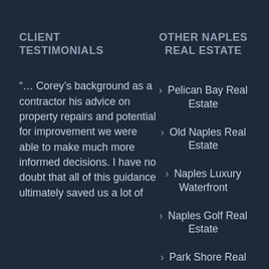CLIENT TESTIMONIALS
OTHER NAPLES REAL ESTATE
“… Corey’s background as a contractor his advice on property repairs and potential for improvement we were able to make much more informed decisions. I have no doubt that all of this guidance ultimately saved us a lot of
> Pelican Bay Real Estate
> Old Naples Real Estate
> Naples Luxury Waterfront
> Naples Golf Real Estate
> Park Shore Real